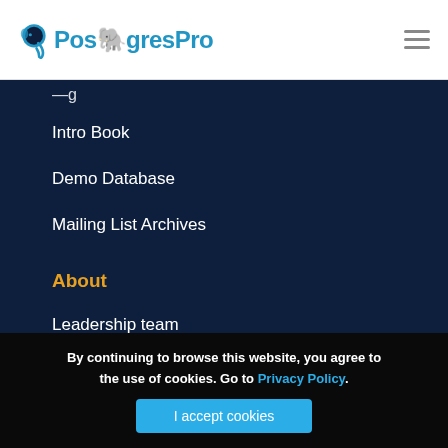PostgresPro
Intro Book
Demo Database
Mailing List Archives
About
Leadership team
Partners
Customers
In the News
Press Releases
By continuing to browse this website, you agree to the use of cookies. Go to Privacy Policy.
I accept cookies